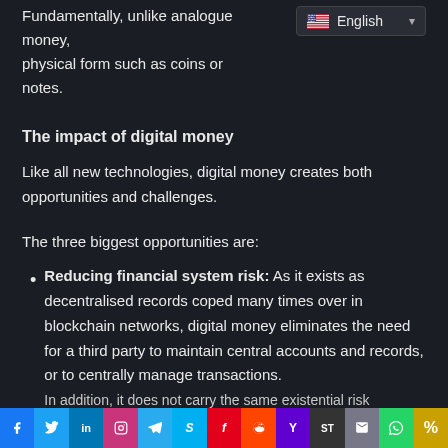Fundamentally, unlike analogue money, physical form such as coins or notes.
[Figure (screenshot): Language selector dropdown showing US flag and 'English' text with dropdown arrow]
The impact of digital money
Like all new technologies, digital money creates both opportunities and challenges.
The three biggest opportunities are:
Reducing financial system risk: As it exists as decentralised records coped many times over in blockchain networks, digital money eliminates the need for a third party to maintain central accounts and records, or to centrally manage transactions.
In addition, it does not carry the same existential risk...
[Figure (infographic): Social media sharing bar with icons for Facebook, Twitter, LinkedIn, Instagram, Telegram, Skype, Flipboard, Reddit, Yahoo, ShareThis, Email, WhatsApp, and a share icon]